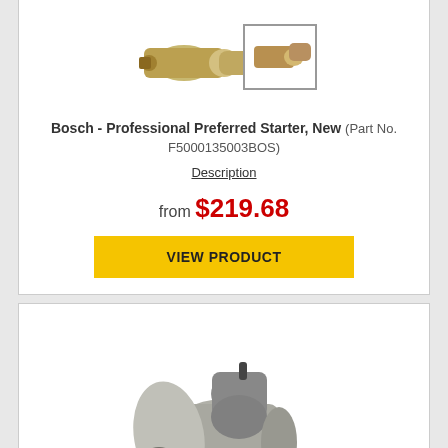[Figure (photo): Bosch professional preferred starter motor product photos - main image and thumbnail]
Bosch - Professional Preferred Starter, New (Part No. F5000135003BOS)
Description
from $219.68
VIEW PRODUCT
[Figure (photo): Starter motor product photo - silver and black starter motor assembly]